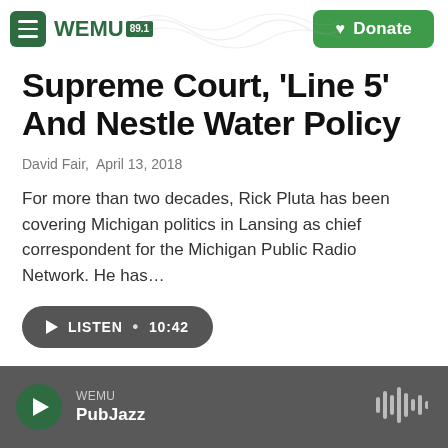WEMU 89.1 — Donate
Supreme Court, 'Line 5' And Nestle Water Policy
David Fair,  April 13, 2018
For more than two decades, Rick Pluta has been covering Michigan politics in Lansing as chief correspondent for the Michigan Public Radio Network. He has...
LISTEN • 10:42
WEMU PubJazz